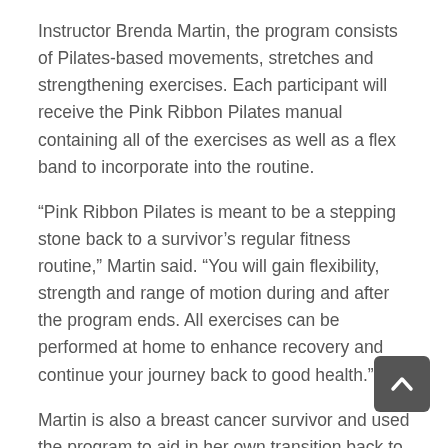Instructor Brenda Martin, the program consists of Pilates-based movements, stretches and strengthening exercises. Each participant will receive the Pink Ribbon Pilates manual containing all of the exercises as well as a flex band to incorporate into the routine.
“Pink Ribbon Pilates is meant to be a stepping stone back to a survivor’s regular fitness routine,” Martin said. “You will gain flexibility, strength and range of motion during and after the program ends. All exercises can be performed at home to enhance recovery and continue your journey back to good health.”
Martin is also a breast cancer survivor and used the program to aid in her own transition back to exercising.
The Pink Ribbon Program originated when exercise physiologist and Pilates instructor Doreen Puglisi began working with breast cancer survivors. While developing the